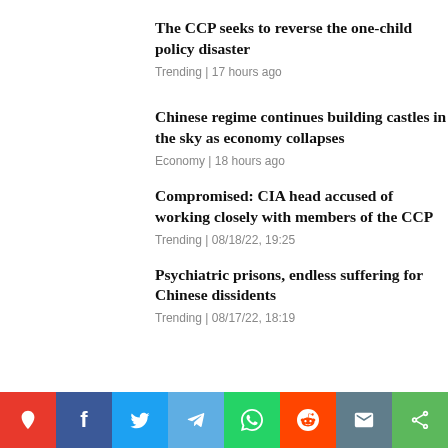The CCP seeks to reverse the one-child policy disaster
Trending | 17 hours ago
Chinese regime continues building castles in the sky as economy collapses
Economy | 18 hours ago
Compromised: CIA head accused of working closely with members of the CCP
Trending | 08/18/22, 19:25
Psychiatric prisons, endless suffering for Chinese dissidents
Trending | 08/17/22, 18:19